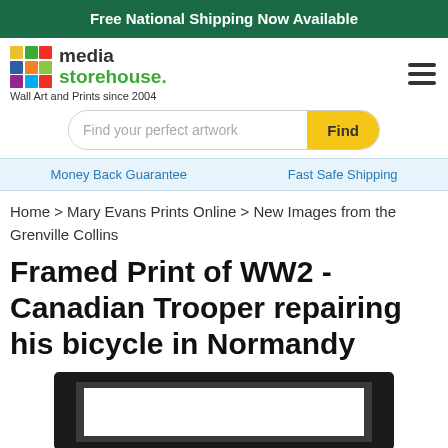Free National Shipping Now Available
[Figure (logo): Media Storehouse logo with colorful grid squares and text 'media storehouse.' with tagline 'Wall Art and Prints since 2004']
Find your perfect artwork
Money Back Guarantee    Fast Safe Shipping
Home > Mary Evans Prints Online > New Images from the Grenville Collins
Framed Print of WW2 - Canadian Trooper repairing his bicycle in Normandy
[Figure (photo): Partial view of a dark-framed print product, showing the top portion of a black picture frame with white matting]